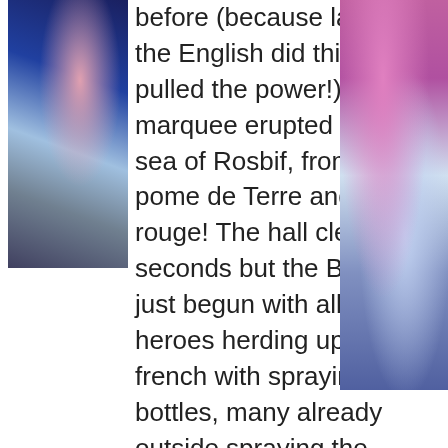[Figure (photo): Photo of people at an event, blue-toned image on the left side]
before (because last time the English did this they pulled the power!), the marquee erupted in a sea of Rosbif, fromage, pome de Terre and vin rouge! The hall cleared in seconds but the Brits had just begun with all action heroes herding up the french with spraying coke bottles, many already outside spraying the black and white stripped onion lovers back into the tent! 5
[Figure (photo): Photo of people at an event, purple and light blue toned image on the right side]